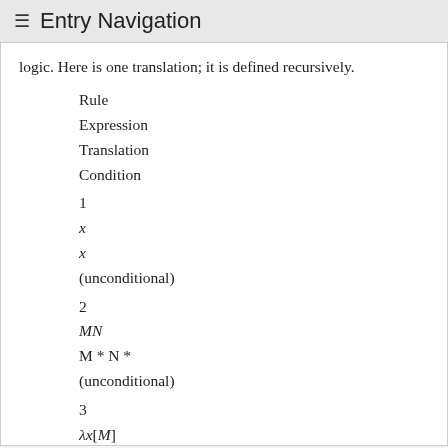≡ Entry Navigation
logic. Here is one translation; it is defined recursively.
| Rule | Expression | Translation | Condition |
| --- | --- | --- | --- |
| 1 | x | x | (unconditional) |
| 2 | MN | M * N * | (unconditional) |
| 3 | λx[M] | KM | x does not occur freely in M |
| 4 |  |  |  |